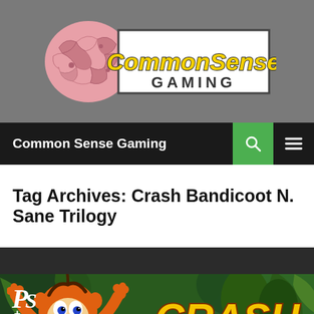[Figure (logo): Common Sense Gaming website logo with pink brain graphic and yellow stylized text 'CommonSense' above 'GAMING' on white background, set against gray banner]
Common Sense Gaming
Tag Archives: Crash Bandicoot N. Sane Trilogy
[Figure (photo): Crash Bandicoot N. Sane Trilogy game promotional image showing Crash Bandicoot character with arms raised, PlayStation logo top left, and 'CRASH BANDICOOT' yellow text, jungle background]